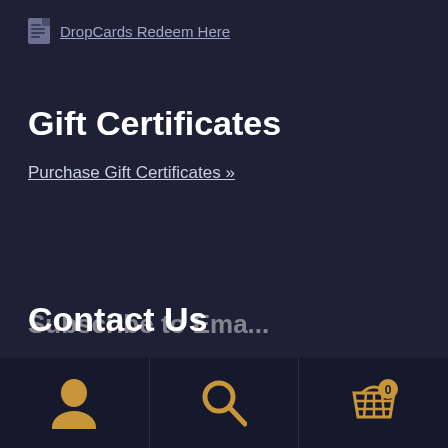DropCards Redeem Here
Gift Certificates
Purchase Gift Certificates »
Contact Us
Click here to contact us or get help »
Subscribe to Email...
Navigation bar with user, search, and cart (0) icons